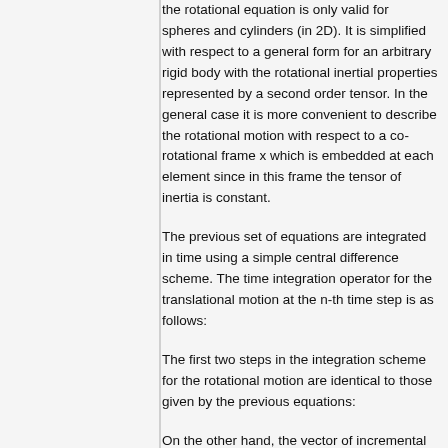the rotational equation is only valid for spheres and cylinders (in 2D). It is simplified with respect to a general form for an arbitrary rigid body with the rotational inertial properties represented by a second order tensor. In the general case it is more convenient to describe the rotational motion with respect to a co-rotational frame x which is embedded at each element since in this frame the tensor of inertia is constant.
The previous set of equations are integrated in time using a simple central difference scheme. The time integration operator for the translational motion at the n-th time step is as follows:
The first two steps in the integration scheme for the rotational motion are identical to those given by the previous equations:
On the other hand, the vector of incremental rotation is computed as.